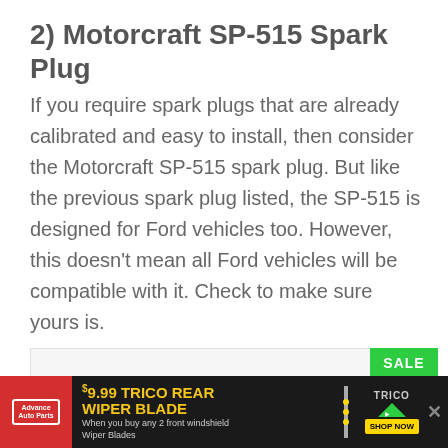2) Motorcraft SP-515 Spark Plug
If you require spark plugs that are already calibrated and easy to install, then consider the Motorcraft SP-515 spark plug. But like the previous spark plug listed, the SP-515 is designed for Ford vehicles too. However, this doesn’t mean all Ford vehicles will be compatible with it. Check to make sure yours is.
[Figure (other): Product listing box with a SALE badge in green]
[Figure (infographic): Advertisement banner for Advance Auto Parts: $9.99 TRICO REAR WIPER BLADE when you buy any 2 front windshield wiper blades, with Trico logo and shop now button]